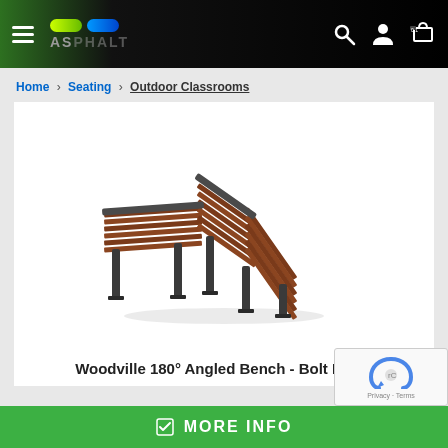Navigation bar with hamburger menu, logo pills, search, user, and cart icons
Home > Seating > Outdoor Classrooms
[Figure (photo): Woodville 180° Angled Bench - Bolt Down: a semi-circular outdoor bench made of dark wood slats on dark metal legs, viewed from an angle showing the L-shaped/curved configuration]
Woodville 180° Angled Bench - Bolt Down
MORE INFO